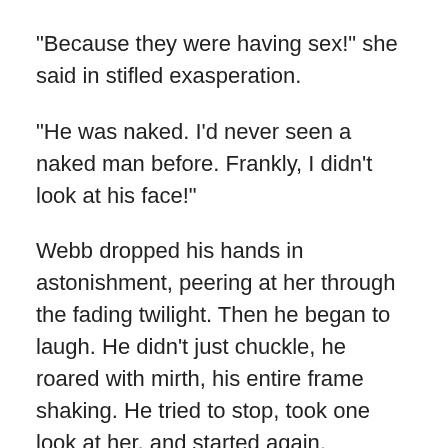"Because they were having sex!" she said in stifled exasperation.
"He was naked. I'd never seen a naked man before. Frankly, I didn't look at his face!"
Webb dropped his hands in astonishment, peering at her through the fading twilight. Then he began to laugh. He didn't just chuckle, he roared with mirth, his entire frame shaking. He tried to stop, took one look at her, and started again.
She punched him on the shoulder.
"Hush," she muttered.